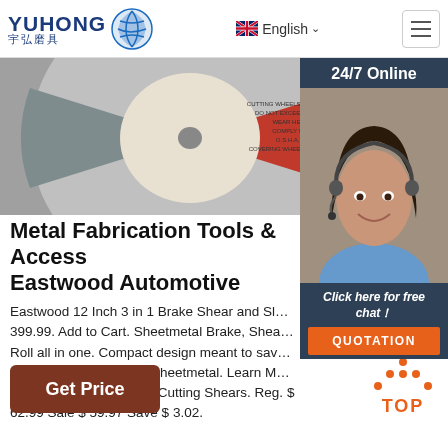YUHONG 宇弘磨具 | English | Menu
[Figure (photo): Close-up of a metal cutting/grinding wheel (abrasive disc) with safety text label visible in the center area, showing red and blue/silver disc surfaces.]
Metal Fabrication Tools & Accessories | Eastwood Automotive
Eastwood 12 Inch 3 in 1 Brake Shear and Slip Roll. Reg. $ 399.99. Add to Cart. Sheetmetal Brake, Shear and Roll all in one. Compact design meant to save space and time when working with sheetmetal. Learn More. Eastwood Electric Metal Cutting Shears. Reg. $ 62.99 Sale $ 59.97 Save $ 3.02.
[Figure (photo): Customer service representative (woman with headset smiling) with 24/7 Online chat overlay panel, 'Click here for free chat!' text, and orange QUOTATION button.]
[Figure (other): Orange TOP button with dots forming an upward arrow above the word TOP]
Get Price